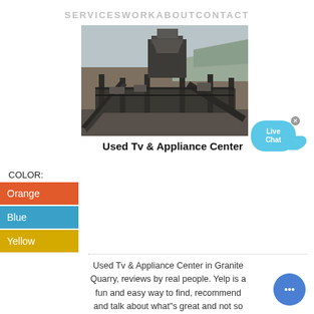SERVICES   WORK   ABOUT   CONTACT
[Figure (photo): Industrial quarry machinery/conveyor equipment structure photographed outdoors with rocky terrain in background]
Used Tv & Appliance Center
COLOR:
Orange
Blue
Yellow
Used Tv & Appliance Center in Granite Quarry, reviews by real people. Yelp is a fun and easy way to find, recommend and talk about what"s great and not so great in Granite Quarry and beyond.